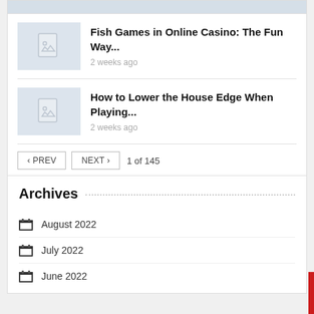[Figure (screenshot): Thumbnail placeholder image with document/image icon for Fish Games article]
Fish Games in Online Casino: The Fun Way...
2 weeks ago
[Figure (screenshot): Thumbnail placeholder image with document/image icon for How to Lower article]
How to Lower the House Edge When Playing...
2 weeks ago
< PREV  NEXT >  1 of 145
Archives
August 2022
July 2022
June 2022